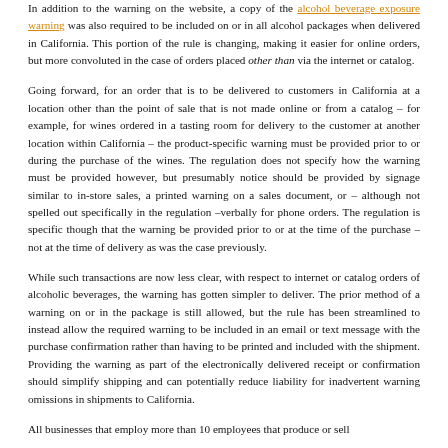In addition to the warning on the website, a copy of the alcohol beverage exposure warning was also required to be included on or in all alcohol packages when delivered in California. This portion of the rule is changing, making it easier for online orders, but more convoluted in the case of orders placed other than via the internet or catalog.
Going forward, for an order that is to be delivered to customers in California at a location other than the point of sale that is not made online or from a catalog – for example, for wines ordered in a tasting room for delivery to the customer at another location within California – the product-specific warning must be provided prior to or during the purchase of the wines. The regulation does not specify how the warning must be provided however, but presumably notice should be provided by signage similar to in-store sales, a printed warning on a sales document, or – although not spelled out specifically in the regulation –verbally for phone orders. The regulation is specific though that the warning be provided prior to or at the time of the purchase – not at the time of delivery as was the case previously.
While such transactions are now less clear, with respect to internet or catalog orders of alcoholic beverages, the warning has gotten simpler to deliver. The prior method of a warning on or in the package is still allowed, but the rule has been streamlined to instead allow the required warning to be included in an email or text message with the purchase confirmation rather than having to be printed and included with the shipment. Providing the warning as part of the electronically delivered receipt or confirmation should simplify shipping and can potentially reduce liability for inadvertent warning omissions in shipments to California.
All businesses that employ more than 10 employees that produce or sell